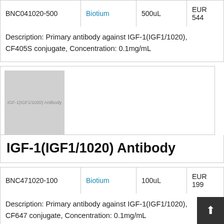| BNC041020-500 | Biotium | 500uL | EUR 544 |
| --- | --- | --- | --- |
| BNC041020-500 | Biotium | 500uL | EUR 544 |
Description: Primary antibody against IGF-1(IGF1/1020), CF405S conjugate, Concentration: 0.1mg/mL
[Figure (photo): Placeholder image for IGF-1(IGF1/1020) Antibody product]
IGF-1(IGF1/1020) Antibody
| BNC471020-100 | Biotium | 100uL | EUR 199 |
| --- | --- | --- | --- |
| BNC471020-100 | Biotium | 100uL | EUR 199 |
Description: Primary antibody against IGF-1(IGF1/1020), CF647 conjugate, Concentration: 0.1mg/mL